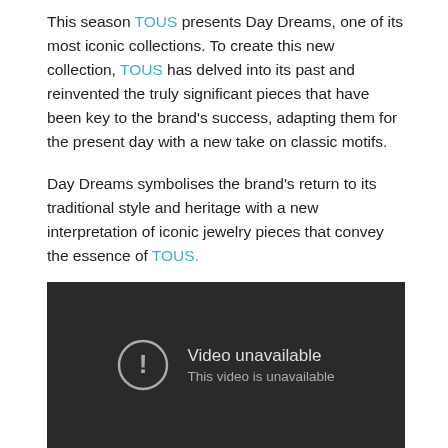This season TOUS presents Day Dreams, one of its most iconic collections. To create this new collection, TOUS has delved into its past and reinvented the truly significant pieces that have been key to the brand's success, adapting them for the present day with a new take on classic motifs.
Day Dreams symbolises the brand's return to its traditional style and heritage with a new interpretation of iconic jewelry pieces that convey the essence of TOUS.
[Figure (screenshot): Embedded video player showing 'Video unavailable — This video is unavailable' message on a dark background.]